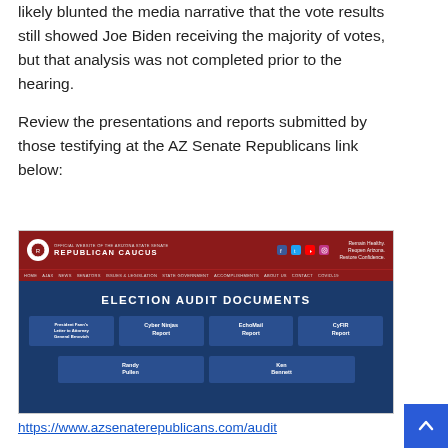likely blunted the media narrative that the vote results still showed Joe Biden receiving the majority of votes, but that analysis was not completed prior to the hearing.
Review the presentations and reports submitted by those testifying at the AZ Senate Republicans link below:
[Figure (screenshot): Screenshot of the Arizona Senate Republican Caucus website showing 'ELECTION AUDIT DOCUMENTS' page with links to: President Fann's Letter to Attorney General Brnovich, Cyber Ninjas Report, EchoMail Report, CyFIR Report, Randy Pullen, Ken Bennett]
https://www.azsenaterepublicans.com/audit